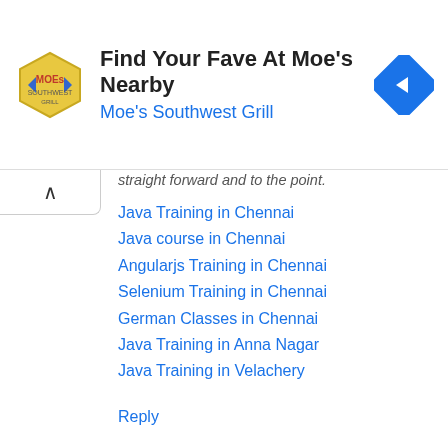[Figure (infographic): Moe's Southwest Grill advertisement banner with logo and navigation arrow icon. Title: 'Find Your Fave At Moe's Nearby', subtitle: 'Moe's Southwest Grill']
straight forward and to the point.
Java Training in Chennai
Java course in Chennai
Angularjs Training in Chennai
Selenium Training in Chennai
German Classes in Chennai
Java Training in Anna Nagar
Java Training in Velachery
Reply
Suba  January 29, 2019 at 3:48 PM
Very useful information, if you are Looking for software courses?
Loadrunner Training in Chennai
JAVA Training in Chennai